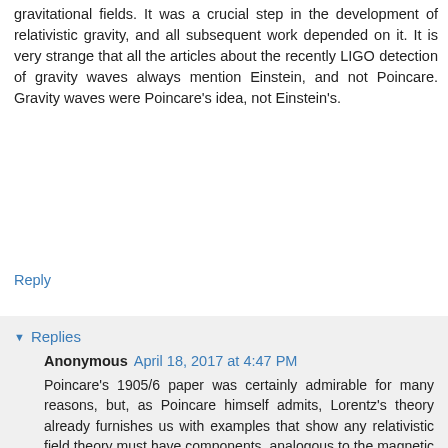gravitational fields. It was a crucial step in the development of relativistic gravity, and all subsequent work depended on it. It is very strange that all the articles about the recently LIGO detection of gravity waves always mention Einstein, and not Poincare. Gravity waves were Poincare's idea, not Einstein's.
Reply
Replies
Anonymous April 18, 2017 at 4:47 PM
Poincare's 1905/6 paper was certainly admirable for many reasons, but, as Poincare himself admits, Lorentz's theory already furnishes us with examples that show any relativistic field theory must have components, analogous to the magnetic field for electromagnetism, that cancel the aberration effect, so Laplace's argument doesn't apply. It's the same reason there was no torque in the Trouton-Noble experiment, as explained in Lorentz's 1904. So, Poincare was not the originator of this insight about relativistic